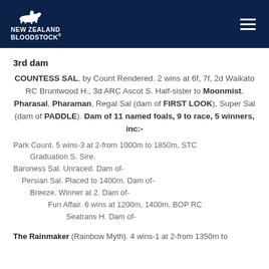NEW ZEALAND BLOODSTOCK
3rd dam
COUNTESS SAL, by Count Rendered. 2 wins at 6f, 7f, 2d Waikato RC Bruntwood H., 3d ARC Ascot S. Half-sister to Moonmist, Pharasal, Pharaman, Regal Sal (dam of FIRST LOOK), Super Sal (dam of PADDLE). Dam of 11 named foals, 9 to race, 5 winners, inc:-
Park Count. 5 wins-3 at 2-from 1000m to 1850m, STC Graduation S. Sire.
Baroness Sal. Unraced. Dam of-
Persian Sal. Placed to 1400m. Dam of-
Breeze. Winner at 2. Dam of-
Fun Affair. 6 wins at 1200m, 1400m, BOP RC Seatrans H. Dam of-
The Rainmaker (Rainbow Myth). 4 wins-1 at 2-from 1350m to